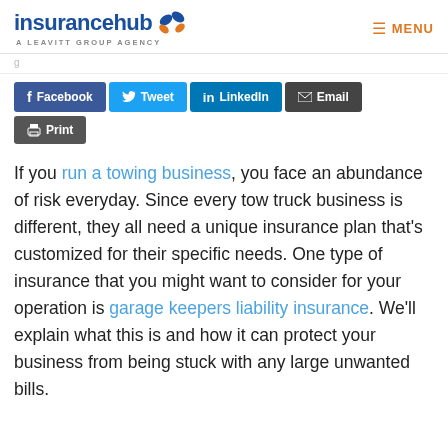insurancehub — A LEAVITT GROUP AGENCY | MENU
[Figure (other): Social sharing buttons: Facebook, Tweet, LinkedIn, Email, Print]
If you run a towing business, you face an abundance of risk everyday. Since every tow truck business is different, they all need a unique insurance plan that's customized for their specific needs. One type of insurance that you might want to consider for your operation is garage keepers liability insurance. We'll explain what this is and how it can protect your business from being stuck with any large unwanted bills.